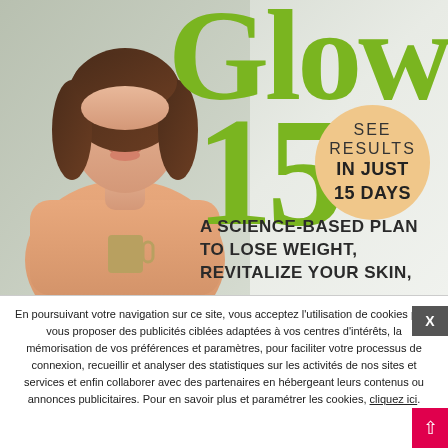[Figure (photo): Book cover for 'Glow 15' showing a smiling woman with dark wavy hair holding a mug, wearing a peach top, against a light background. Large green text reads 'Glow 15' with a peach/orange circular badge reading 'SEE RESULTS IN JUST 15 DAYS'. Below reads 'A SCIENCE-BASED PLAN TO LOSE WEIGHT, REVITALIZE YOUR SKIN,']
En poursuivant votre navigation sur ce site, vous acceptez l'utilisation de cookies pour vous proposer des publicités ciblées adaptées à vos centres d'intérêts, la mémorisation de vos préférences et paramètres, pour faciliter votre processus de connexion, recueillir et analyser des statistiques sur les activités de nos sites et services et enfin collaborer avec des partenaires en hébergeant leurs contenus ou annonces publicitaires. Pour en savoir plus et paramétrer les cookies, cliquez ici.